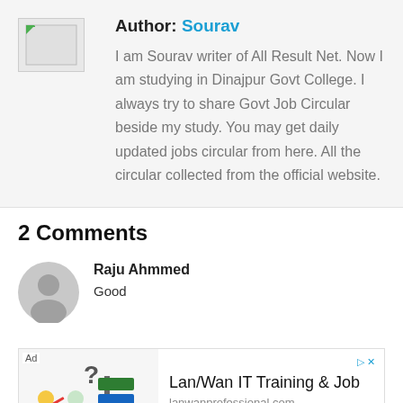Author: Sourav
I am Sourav writer of All Result Net. Now I am studying in Dinajpur Govt College. I always try to share Govt Job Circular beside my study. You may get daily updated jobs circular from here. All the circular collected from the official website.
2 Comments
Raju Ahmmed
Good
[Figure (infographic): Advertisement banner for Lan/Wan IT Training & Job at lanwanprofessional.com with illustration of two people with question mark and signpost, Visit Site link]